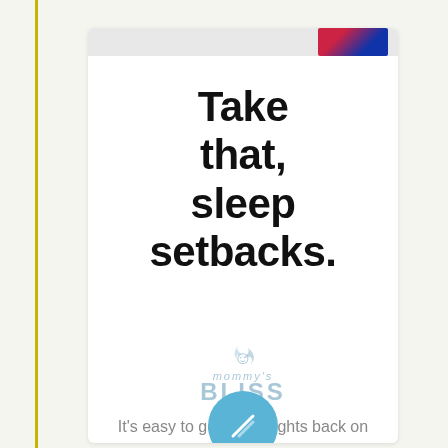[Figure (illustration): Advertisement card for Mommy's Bliss brand with headline text and logo on white card background with yellow left border strip]
Take that, sleep setbacks.
[Figure (logo): Mommy's Bliss logo in light blue with decorative flourish above]
It's easy to get good nights back on track.